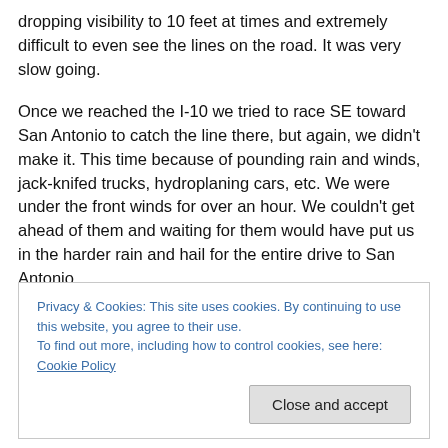dropping visibility to 10 feet at times and extremely difficult to even see the lines on the road. It was very slow going.
Once we reached the I-10 we tried to race SE toward San Antonio to catch the line there, but again, we didn't make it. This time because of pounding rain and winds, jack-knifed trucks, hydroplaning cars, etc. We were under the front winds for over an hour. We couldn't get ahead of them and waiting for them would have put us in the harder rain and hail for the entire drive to San Antonio.
Privacy & Cookies: This site uses cookies. By continuing to use this website, you agree to their use. To find out more, including how to control cookies, see here: Cookie Policy
Close and accept
flooding, vehicles stuck in the water with people trapped